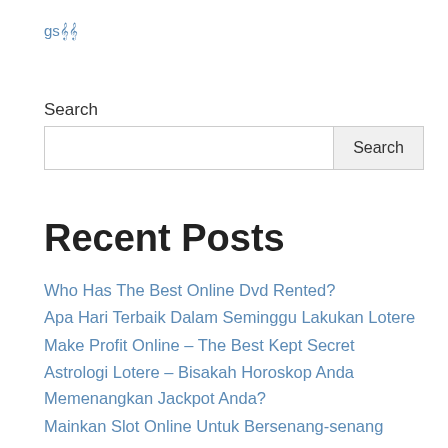gs𝄞𝄞
Search
Search (input field and button)
Recent Posts
Who Has The Best Online Dvd Rented?
Apa Hari Terbaik Dalam Seminggu Lakukan Lotere
Make Profit Online – The Best Kept Secret
Astrologi Lotere – Bisakah Horoskop Anda Memenangkan Jackpot Anda?
Mainkan Slot Online Untuk Bersenang-senang